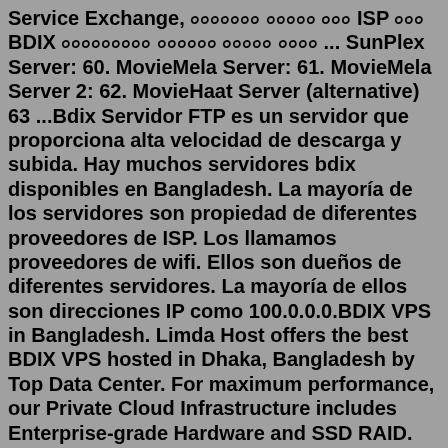Service Exchange, ০০০০০০০ ০০০০০ ০০০ ISP ০০০ BDIX ০০০০০০০০০ ০০০০০০ ০০০০০ ০০০০ ... SunPlex Server: 60. MovieMela Server: 61. MovieMela Server 2: 62. MovieHaat Server (alternative) 63 ...Bdix Servidor FTP es un servidor que proporciona alta velocidad de descarga y subida. Hay muchos servidores bdix disponibles en Bangladesh. La mayoría de los servidores son propiedad de diferentes proveedores de ISP. Los llamamos proveedores de wifi. Ellos son dueños de diferentes servidores. La mayoría de ellos son direcciones IP como 100.0.0.0.BDIX VPS in Bangladesh. Limda Host offers the best BDIX VPS hosted in Dhaka, Bangladesh by Top Data Center. For maximum performance, our Private Cloud Infrastructure includes Enterprise-grade Hardware and SSD RAID. This commit does not belong to any branch on this repository, and may belong to a fork outside of the repository. Basically BDIX servers are classified in two categories, BDIX FTP Server and BDIX TV Server. Top 20 BDIX FTP Servers. Here is the list of top 20 BDIX ftp servers ... The...